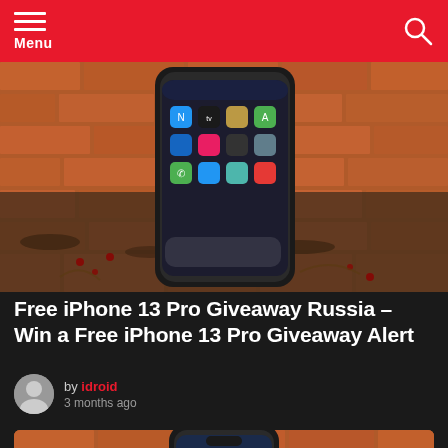Menu
[Figure (photo): iPhone 13 Pro with red case propped against brick wall with soil and dried berries in foreground, showing home screen with app icons]
Free iPhone 13 Pro Giveaway Russia – Win a Free iPhone 13 Pro Giveaway Alert
by idroid
3 months ago
[Figure (photo): iPhone 14 Pro against brick wall showing lock screen with weather widget showing 15 degrees]